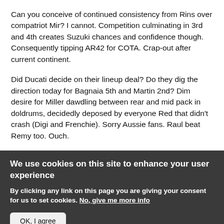Can you conceive of continued consistency from Rins over compatriot Mir? I cannot. Competition culminating in 3rd and 4th creates Suzuki chances and confidence though. Consequently tipping AR42 for COTA. Crap-out after current continent.
Did Ducati decide on their lineup deal? Do they dig the direction today for Bagnaia 5th and Martin 2nd? Dim desire for Miller dawdling between rear and mid pack in doldrums, decidedly deposed by everyone Red that didn't crash (Digi and Frenchie). Sorry Aussie fans. Raul beat Remy too. Ouch.
We use cookies on this site to enhance your user experience
By clicking any link on this page you are giving your consent for us to set cookies. No, give me more info
OK, I agree